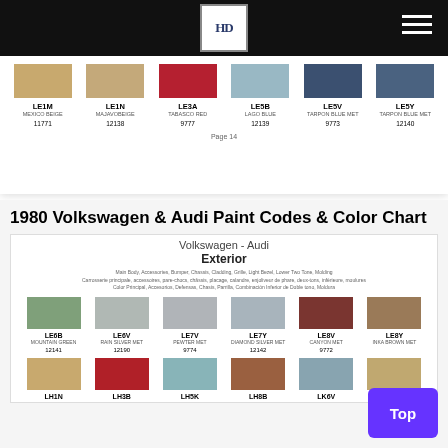HD logo and navigation
[Figure (other): Color swatch row: LE1M Mexico Beige (11771), LE1N Majavobeige (12138), LE3A Tabasco Red (9777), LE5B Lago Blue (12139), LE5V Tarpon Blue Met (9773), LE5Y Tarpon Blue Met (12140). Page 14.]
1980 Volkswagen & Audi Paint Codes & Color Chart
Volkswagen - Audi
Exterior
Main Body, Accessories, Bumper, Chassis, Cladding, Grille, Light Bezel, Lower Two Tone, Molding
Carrosserie principale, accessoires, pare-chocs, châssis, placage, calandre, enjoliveur de phare, deux-tons, inférieure, moulures
Color Principal, Accesorios, Defensas, Chasis, Parrilla, Combinación Inferior de Doble tono, Moldura
[Figure (other): Color swatch row: LE6B Mountain Green (12141), LE6V Rain Silver Met (12190), LE7V Pewter Met (9774), LE7Y Diamond Silver Met (12142), LE8V Canyon Met (9772), LE8Y Inka Brown Met]
[Figure (other): Partial color swatch row: LH1N, LH3B, LH5K, LH8B, LK6V, LM5V]
Top